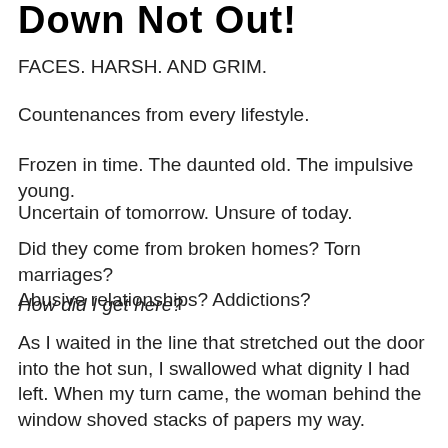Down Not Out!
FACES. HARSH. AND GRIM.
Countenances from every lifestyle.
Frozen in time. The daunted old. The impulsive young.
Uncertain of tomorrow. Unsure of today.
Did they come from broken homes? Torn marriages? Abusive relationships? Addictions?
How did I get here?
As I waited in the line that stretched out the door into the hot sun, I swallowed what dignity I had left. When my turn came, the woman behind the window shoved stacks of papers my way.